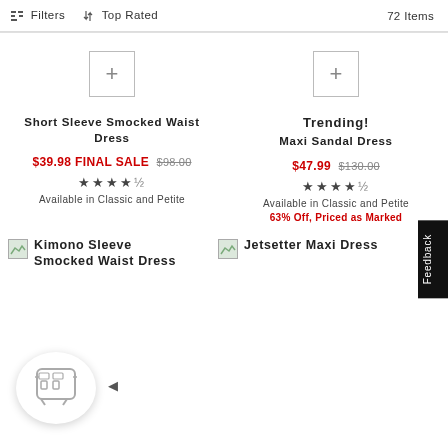Filters  Top Rated  72 Items
Short Sleeve Smocked Waist Dress
$39.98 FINAL SALE $98.00
★★★★½  Available in Classic and Petite
Trending!
Maxi Sandal Dress
$47.99 $130.00
★★★★½  Available in Classic and Petite  63% Off, Priced as Marked
Kimono Sleeve Smocked Waist Dress
Jetsetter Maxi Dress